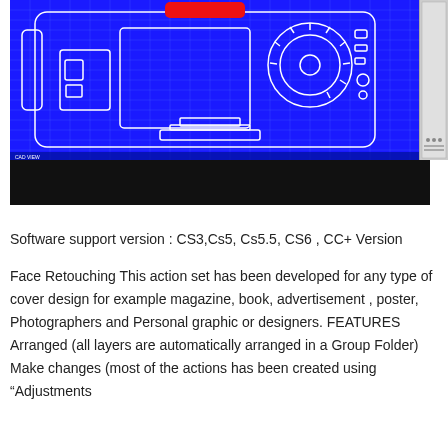[Figure (screenshot): Screenshot of a software interface showing a blueprint-style top-view engineering diagram of a camera body. The blueprint has a bright blue background with white grid lines and white outline of the camera. A red rectangle is visible at the top center. A dark panel is on the right edge. Below the blueprint is a solid black bar.]
Software support version : CS3,Cs5, Cs5.5, CS6 , CC+ Version
Face Retouching This action set has been developed for any type of cover design for example magazine, book, advertisement , poster, Photographers and Personal graphic or designers. FEATURES Arranged (all layers are automatically arranged in a Group Folder) Make changes (most of the actions has been created using "Adjustments